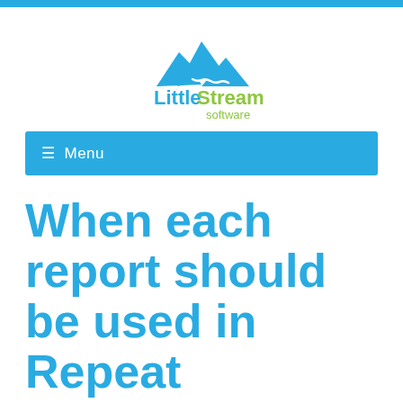[Figure (logo): LittleStream Software logo with blue mountain peaks and a winding river path, with 'LittleStream' in blue/green mixed text and 'software' in green below]
≡ Menu
When each report should be used in Repeat